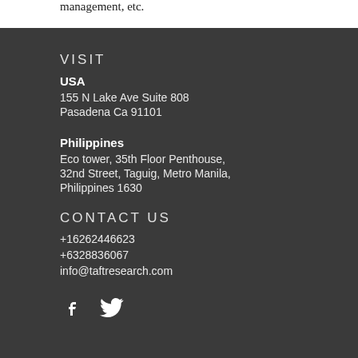management, etc.
VISIT
USA
155 N Lake Ave Suite 808
Pasadena Ca 91101
Philippines
Eco tower, 35th Floor Penthouse, 32nd Street, Taguig, Metro Manila, Philippines 1630
CONTACT US
+16262446623
+6328836067
info@taftresearch.com
[Figure (illustration): Facebook and Twitter social media icons in white]